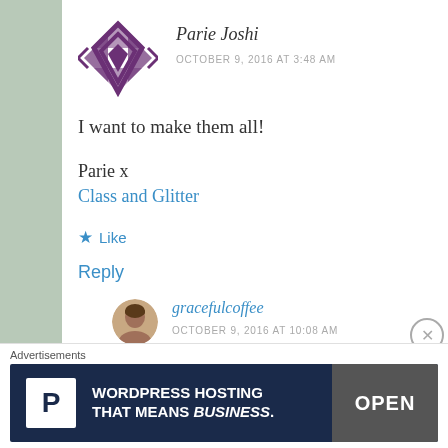[Figure (illustration): Purple geometric diamond/star logo avatar for Parie Joshi]
Parie Joshi
OCTOBER 9, 2016 AT 3:48 AM
I want to make them all!

Parie x
Class and Glitter
Like
Reply
[Figure (photo): Small circular avatar photo of gracefulcoffee user]
gracefulcoffee
OCTOBER 9, 2016 AT 10:08 AM
Advertisements
[Figure (screenshot): WordPress hosting advertisement banner: WORDPRESS HOSTING THAT MEANS BUSINESS. with P logo and OPEN sign photo]